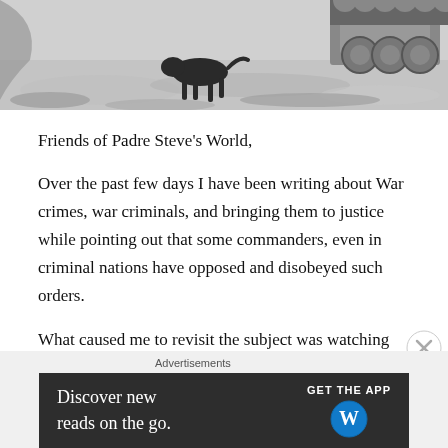[Figure (photo): Black and white photograph showing what appears to be a dog or animal walking on a cobblestone or rough ground surface, with military vehicles or equipment visible in the background.]
Friends of Padre Steve's World,
Over the past few days I have been writing about War crimes, war criminals, and bringing them to justice while pointing out that some commanders, even in criminal nations have opposed and disobeyed such orders.
What caused me to revisit the subject was watching the biographical documentary of Benjamin Ferencz, the last remaining prosecutor from the Nuremberg Trials. Ferencz prosecuted the Einsatzgruppen Trial. The
Advertisements
[Figure (screenshot): Advertisement banner for WordPress app: 'Discover new reads on the go. GET THE APP' with WordPress logo.]